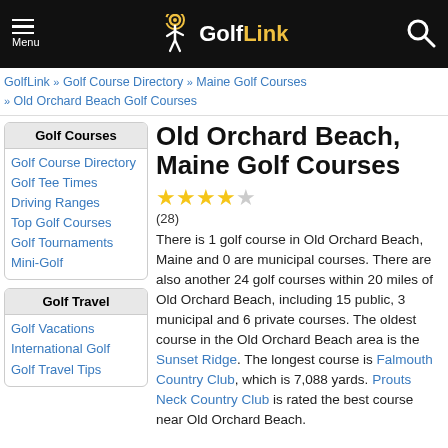Menu | GolfLink | Search
GolfLink >> Golf Course Directory >> Maine Golf Courses >> Old Orchard Beach Golf Courses
Golf Courses
Golf Course Directory
Golf Tee Times
Driving Ranges
Top Golf Courses
Golf Tournaments
Mini-Golf
Golf Travel
Golf Vacations
International Golf
Golf Travel Tips
Old Orchard Beach, Maine Golf Courses
(28)
There is 1 golf course in Old Orchard Beach, Maine and 0 are municipal courses. There are also another 24 golf courses within 20 miles of Old Orchard Beach, including 15 public, 3 municipal and 6 private courses. The oldest course in the Old Orchard Beach area is the Sunset Ridge. The longest course is Falmouth Country Club, which is 7,088 yards. Prouts Neck Country Club is rated the best course near Old Orchard Beach.